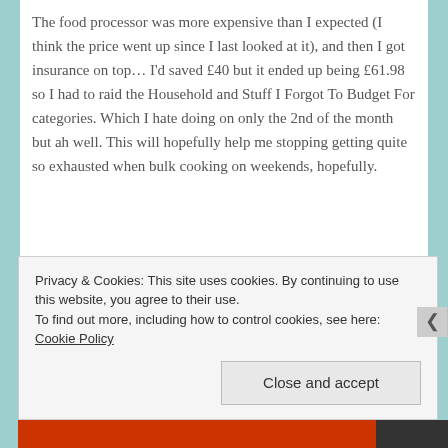The food processor was more expensive than I expected (I think the price went up since I last looked at it), and then I got insurance on top… I'd saved £40 but it ended up being £61.98 so I had to raid the Household and Stuff I Forgot To Budget For categories. Which I hate doing on only the 2nd of the month but ah well. This will hopefully help me stopping getting quite so exhausted when bulk cooking on weekends, hopefully.
Privacy & Cookies: This site uses cookies. By continuing to use this website, you agree to their use.
To find out more, including how to control cookies, see here: Cookie Policy